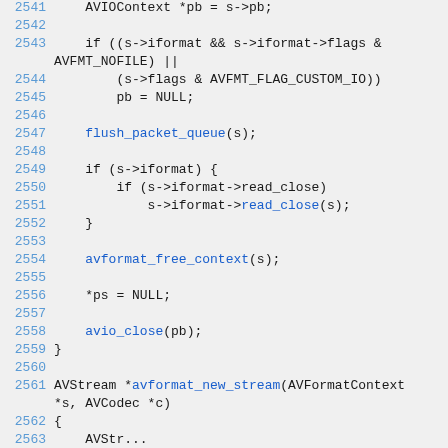[Figure (screenshot): Source code snippet showing C code lines 2541–2562+, including AVIOContext, flush_packet_queue, avformat_free_context, avio_close, and avformat_new_stream function declarations.]